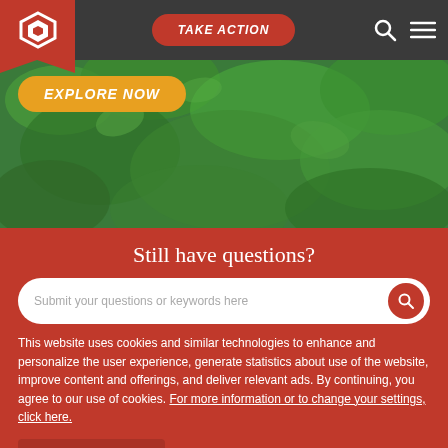TAKE ACTION
[Figure (screenshot): Green foliage hero image with EXPLORE NOW button]
Still have questions?
Submit your questions or keywords here
This website uses cookies and similar technologies to enhance and personalize the user experience, generate statistics about use of the website, improve content and offerings, and deliver relevant ads. By continuing, you agree to our use of cookies. For more information or to change your settings, click here.
CONTINUE